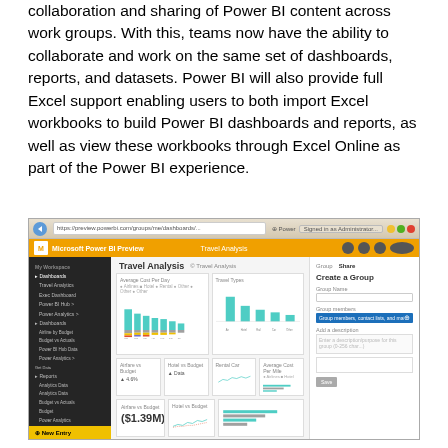collaboration and sharing of Power BI content across work groups. With this, teams now have the ability to collaborate and work on the same set of dashboards, reports, and datasets. Power BI will also provide full Excel support enabling users to both import Excel workbooks to build Power BI dashboards and reports, as well as view these workbooks through Excel Online as part of the Power BI experience.
[Figure (screenshot): Screenshot of Microsoft Power BI Preview showing a Travel Analysis dashboard with stacked bar charts, bar charts, line charts, KPI tiles showing ($1.39M) and $22.96M, a left navigation sidebar, and a 'Create a Group' panel on the right side.]